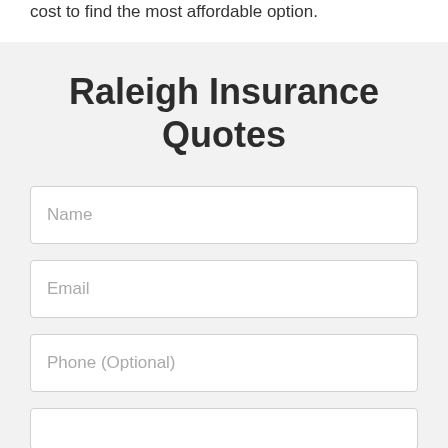cost to find the most affordable option.
Raleigh Insurance Quotes
Name
Email
Phone (Optional)